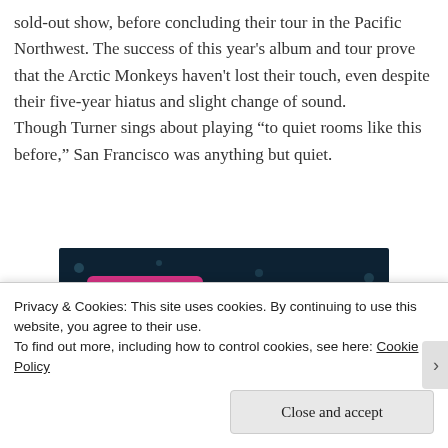sold-out show, before concluding their tour in the Pacific Northwest. The success of this year's album and tour prove that the Arctic Monkeys haven't lost their touch, even despite their five-year hiatus and slight change of sound.
Though Turner sings about playing “to quiet rooms like this before,” San Francisco was anything but quiet.
[Figure (other): Advertisement banner with dark navy background showing a pink 'Start now' button and a circular dotted logo reading 'CROWD' in teal text on the right side.]
Privacy & Cookies: This site uses cookies. By continuing to use this website, you agree to their use.
To find out more, including how to control cookies, see here: Cookie Policy
Close and accept